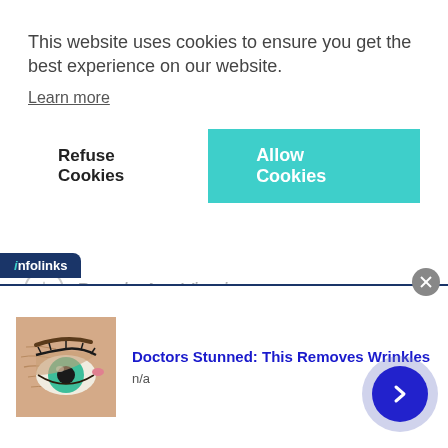This website uses cookies to ensure you get the best experience on our website.
Learn more
Refuse Cookies
Allow Cookies
People Are Viewing:
[Figure (screenshot): Infolinks advertisement bar with label 'infolinks' in navy/teal, close button (X), ad image of an eye with green iris and wrinkled skin, headline 'Doctors Stunned: This Removes Wrinkles', subtext 'n/a', and a dark blue circular arrow/next button on the right.]
Doctors Stunned: This Removes Wrinkles
n/a